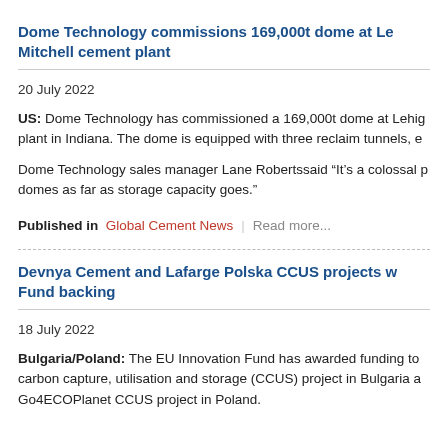Dome Technology commissions 169,000t dome at Le Mitchell cement plant
20 July 2022
US: Dome Technology has commissioned a 169,000t dome at Lehig plant in Indiana. The dome is equipped with three reclaim tunnels, e
Dome Technology sales manager Lane Robertssaid “It’s a colossal p domes as far as storage capacity goes.”
Published in  Global Cement News  |  Read more...
Devnya Cement and Lafarge Polska CCUS projects w Fund backing
18 July 2022
Bulgaria/Poland: The EU Innovation Fund has awarded funding to carbon capture, utilisation and storage (CCUS) project in Bulgaria a Go4ECOPlanet CCUS project in Poland.